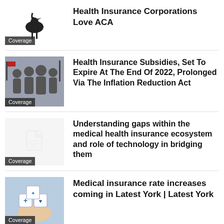[Figure (photo): Bird/heron silhouette illustration with Coverage badge]
Health Insurance Corporations Love ACA
[Figure (photo): Group of people at signing ceremony with flags, Coverage badge]
Health Insurance Subsidies, Set To Expire At The End Of 2022, Prolonged Via The Inflation Reduction Act
[Figure (photo): Blank/placeholder image with document icon, Coverage badge]
Understanding gaps within the medical health insurance ecosystem and role of technology in bridging them
[Figure (photo): Hand holding medical insurance cubes with plus and heart symbols, Coverage badge]
Medical insurance rate increases coming in Latest York | Latest York